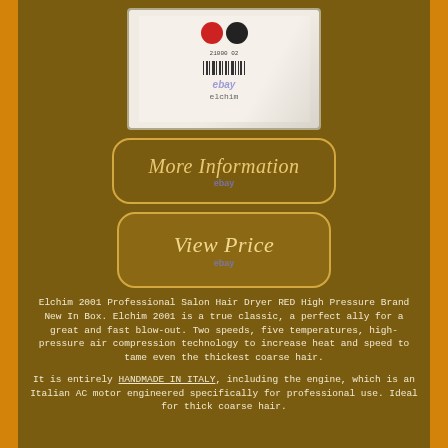[Figure (photo): Elchim 2001 Professional Salon Hair Dryer product box, white/light colored packaging with barcode visible, photographed against light background with eBay watermark]
[Figure (other): More Information button with rounded rectangle border in gold/amber color, italic text reading 'More Information' with ebay tag below]
[Figure (other): View Price button with rounded rectangle border in gold/amber color, italic text reading 'View Price' with ebay tag below]
Elchim 2001 Professional Salon Hair Dryer RED High Pressure Brand New In Box. Elchim 2001 is a true classic, a perfect ally for a great and fast blow-out. Two speeds, five temperatures, high-pressure air compression technology to increase heat and speed to tame even the thickest coarse hair.
It is entirely HANDMADE IN ITALY, including the engine, which is an Italian AC motor engineered specifically for professional use. Ideal for thick coarse hair.